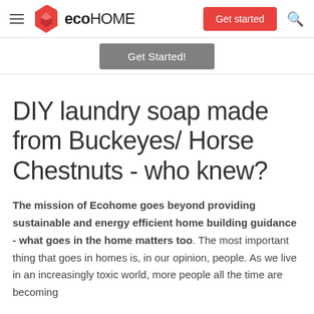ecoHOME — Get started
[Figure (logo): Ecohome logo with red angular icon and bold text 'ecoHOME']
Get Started!
DIY laundry soap made from Buckeyes/ Horse Chestnuts - who knew?
The mission of Ecohome goes beyond providing sustainable and energy efficient home building guidance - what goes in the home matters too. The most important thing that goes in homes is, in our opinion, people. As we live in an increasingly toxic world, more people all the time are becoming